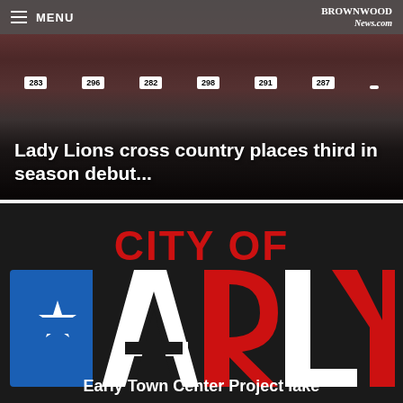[Figure (photo): Group photo of Brownwood Lady Lions cross country team wearing maroon uniforms with numbered bibs (283, 296, 282, 298, 291, 287, and others) standing together, showing legs/lower bodies]
Lady Lions cross country places third in season debut...
[Figure (logo): City of Early, Texas logo on dark background with large red 'CITY OF' text above oversized 'EARLY' lettering in blue and red Texas flag style with white star]
Early Town Center Project lake